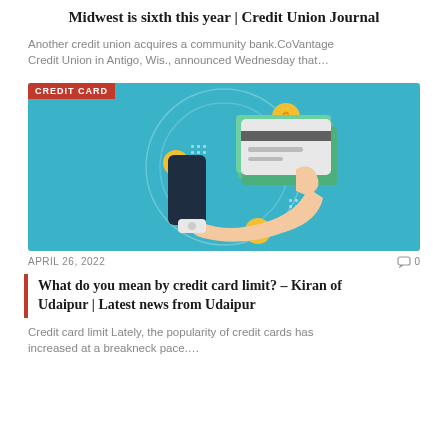Midwest is sixth this year | Credit Union Journal
Another credit union acquires a community bank.CoVantage Credit Union in Antigo, Wis., announced Wednesday that...
[Figure (illustration): Illustration of a hand holding credit cards with dollar coin icons, on a teal background. Red label reading CREDIT CARD in top left corner.]
APRIL 26, 2022
0
What do you mean by credit card limit? – Kiran of Udaipur | Latest news from Udaipur
Credit card limit Lately, the popularity of credit cards has increased at a breakneck pace....